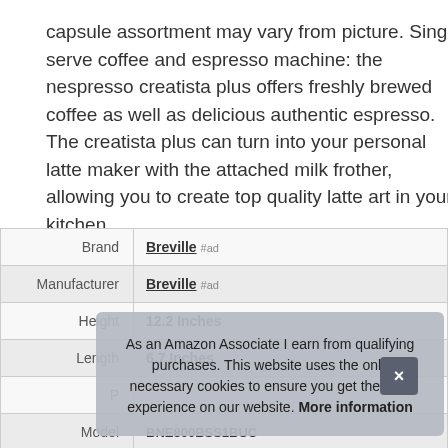capsule assortment may vary from picture. Single serve coffee and espresso machine: the nespresso creatista plus offers freshly brewed coffee as well as delicious authentic espresso. The creatista plus can turn into your personal latte maker with the attached milk frother, allowing you to create top quality latte art in your kitchen.
|  |  |
| --- | --- |
| Brand | Breville #ad |
| Manufacturer | Breville #ad |
| Height | 12.2 Inches |
| Length | 6.7 Inches |
| P |  |
| Model | BNE800BSS1BUC |
As an Amazon Associate I earn from qualifying purchases. This website uses the only necessary cookies to ensure you get the best experience on our website. More information